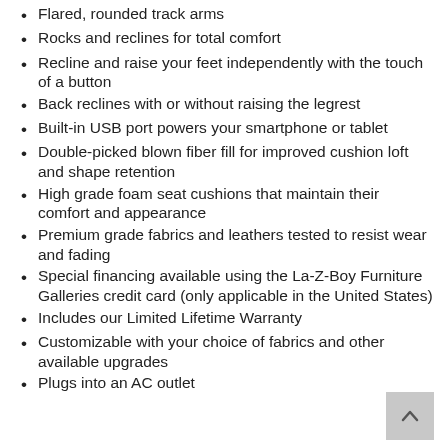Flared, rounded track arms
Rocks and reclines for total comfort
Recline and raise your feet independently with the touch of a button
Back reclines with or without raising the legrest
Built-in USB port powers your smartphone or tablet
Double-picked blown fiber fill for improved cushion loft and shape retention
High grade foam seat cushions that maintain their comfort and appearance
Premium grade fabrics and leathers tested to resist wear and fading
Special financing available using the La-Z-Boy Furniture Galleries credit card (only applicable in the United States)
Includes our Limited Lifetime Warranty
Customizable with your choice of fabrics and other available upgrades
Plugs into an AC outlet